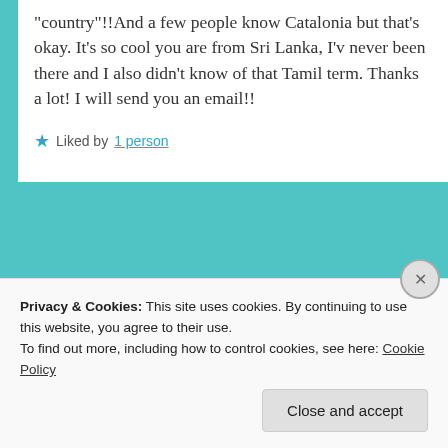“country”!!And a few people know Catalonia but that’s okay. It’s so cool you are from Sri Lanka, I’v never been there and I also didn’t know of that Tamil term. Thanks a lot! I will send you an email!!
★ Liked by 1 person
Privacy & Cookies: This site uses cookies. By continuing to use this website, you agree to their use.
To find out more, including how to control cookies, see here: Cookie Policy